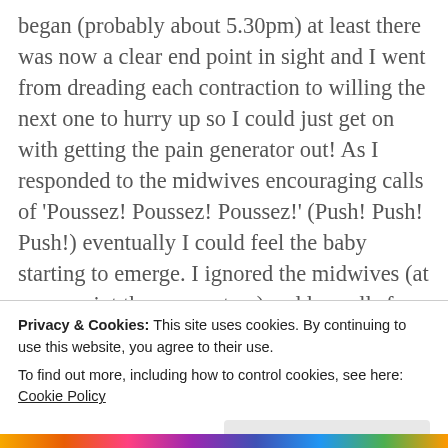began (probably about 5.30pm) at least there was now a clear end point in sight and I went from dreading each contraction to willing the next one to hurry up so I could just get on with getting the pain generator out! As I responded to the midwives encouraging calls of 'Poussez! Poussez! Poussez!' (Push! Push! Push!) eventually I could feel the baby starting to emerge. I ignored the midwives (at some point there were two) sudden calls for me to stop pushing as the baby and I decided we were just going to get on with this in one go.
Privacy & Cookies: This site uses cookies. By continuing to use this website, you agree to their use.
To find out more, including how to control cookies, see here: Cookie Policy
Close and accept